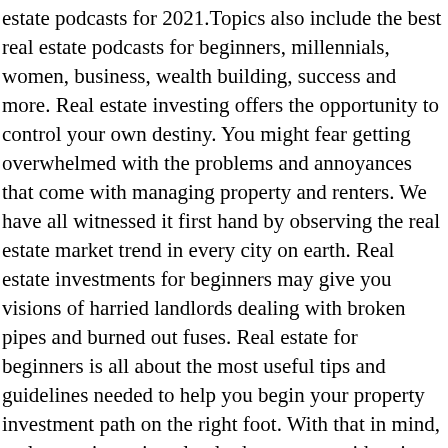estate podcasts for 2021.Topics also include the best real estate podcasts for beginners, millennials, women, business, wealth building, success and more. Real estate investing offers the opportunity to control your own destiny. You might fear getting overwhelmed with the problems and annoyances that come with managing property and renters. We have all witnessed it first hand by observing the real estate market trend in every city on earth. Real estate investments for beginners may give you visions of harried landlords dealing with broken pipes and burned out fuses. Real estate for beginners is all about the most useful tips and guidelines needed to help you begin your property investment path on the right foot. With that in mind, real estate investing clearly deserves consideration from any individual or business looking for asset classes in which to invest a portion of their capital. The best part is, a lot of the information is free! Here are the options we have for you. Real estate investing for beginners can be overwhelming, so understanding the different